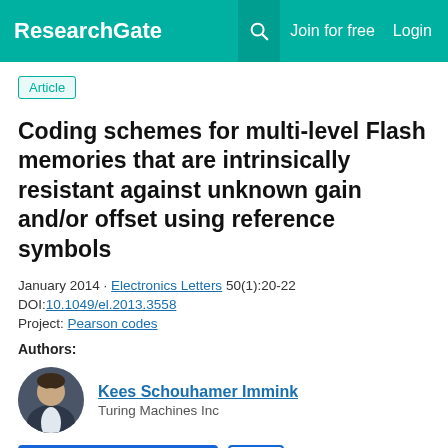ResearchGate | Join for free | Login
Article
Coding schemes for multi-level Flash memories that are intrinsically resistant against unknown gain and/or offset using reference symbols
January 2014 · Electronics Letters 50(1):20-22
DOI:10.1049/el.2013.3558
Project: Pearson codes
Authors:
Kees Schouhamer Immink
Turing Machines Inc
Request full-text
To read the full-text of this research, you can request a copy